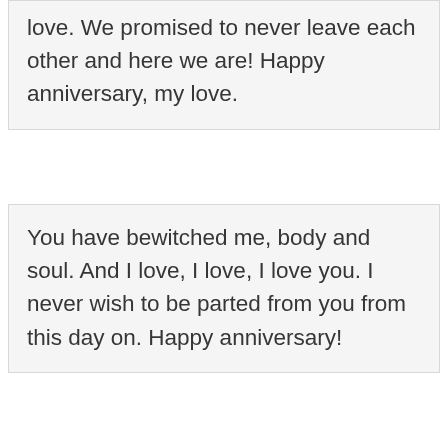love. We promised to never leave each other and here we are! Happy anniversary, my love.
You have bewitched me, body and soul. And I love, I love, I love you. I never wish to be parted from you from this day on. Happy anniversary!
In our life together, you have given me a new purpose. One that is full of meaning and happiness. Happy Anniversary.
There is no mystery — that's the beauty of it. We are entirely explicable to each